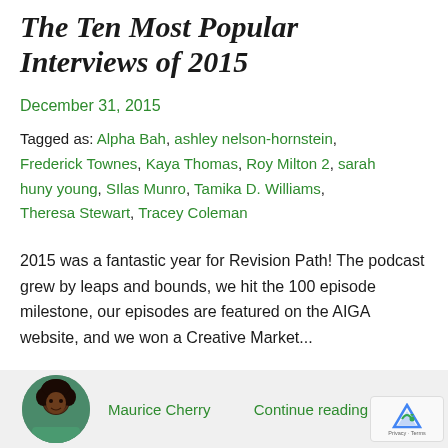The Ten Most Popular Interviews of 2015
December 31, 2015
Tagged as: Alpha Bah, ashley nelson-hornstein, Frederick Townes, Kaya Thomas, Roy Milton 2, sarah huny young, Silas Munro, Tamika D. Williams, Theresa Stewart, Tracey Coleman
2015 was a fantastic year for Revision Path! The podcast grew by leaps and bounds, we hit the 100 episode milestone, our episodes are featured on the AIGA website, and we won a Creative Market...
Maurice Cherry
Continue reading